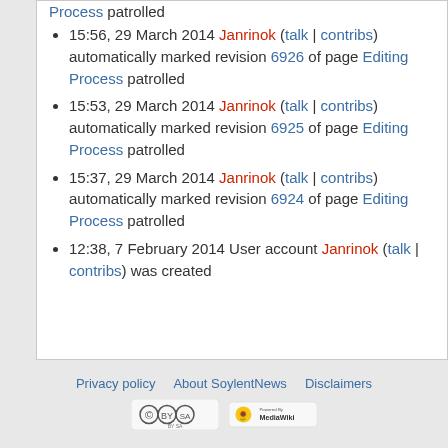Process patrolled
15:56, 29 March 2014 Janrinok (talk | contribs) automatically marked revision 6926 of page Editing Process patrolled
15:53, 29 March 2014 Janrinok (talk | contribs) automatically marked revision 6925 of page Editing Process patrolled
15:37, 29 March 2014 Janrinok (talk | contribs) automatically marked revision 6924 of page Editing Process patrolled
12:38, 7 February 2014 User account Janrinok (talk | contribs) was created
Privacy policy  About SoylentNews  Disclaimers